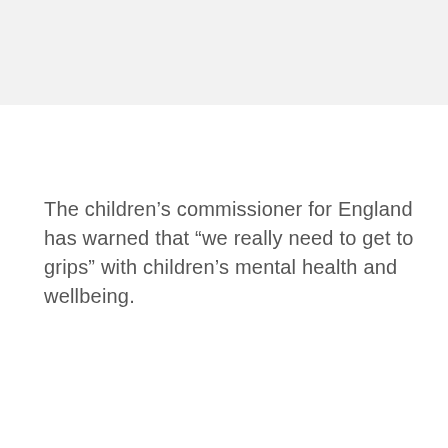The children’s commissioner for England has warned that “we really need to get to grips” with children’s mental health and wellbeing.